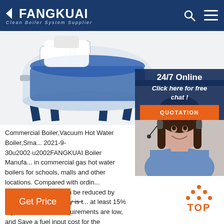FANGKUAI Clean Boiler System Supplier
[Figure (photo): Industrial boiler unit, white and blue colored, mounted on blue steel frame/legs, photographed from side angle]
[Figure (photo): Customer service representative, woman with headset smiling, with '24/7 Online' label and 'Click here for free chat!' call-to-action with QUOTATION button]
Commercial Boiler,Vacuum Hot Water Boiler,Sma... 2021-9-30u2002·u2002FANGKUAI Boiler Manufa... in commercial gas hot water boilers for schools, malls and other locations. Compared with ordin... commercial boilers can be reduced by 30%, thermal efficiency is at least 15% higher, boiler room requirements are low, and Save a fuel input cost for the company. Rated thermal ...
[Figure (infographic): TOP arrow icon in orange dots with TOP text label below]